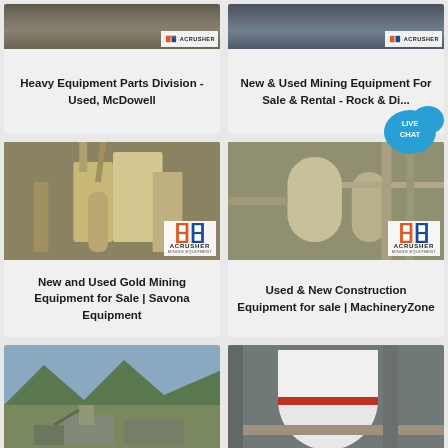[Figure (photo): Industrial crusher/mining equipment - top left card with Acrusher Mining Equipment logo overlay]
Heavy Equipment Parts Division - Used, McDowell
[Figure (photo): Industrial mining equipment - top right card with Acrusher Mining Equipment logo overlay, Live Chat bubble visible]
New & Used Mining Equipment For Sale & Rental - Rock & Di...
[Figure (photo): Gold mining mill equipment indoors - Acrusher Mining Equipment logo overlay]
New and Used Gold Mining Equipment for Sale | Savona Equipment
[Figure (photo): Large industrial silos/tanks construction equipment - Acrusher Mining Equipment logo overlay]
Used & New Construction Equipment for sale | MachineryZone
[Figure (photo): Aerial view of open pit mining operation with mountains]
[Figure (photo): Large white industrial tank or silo close-up]